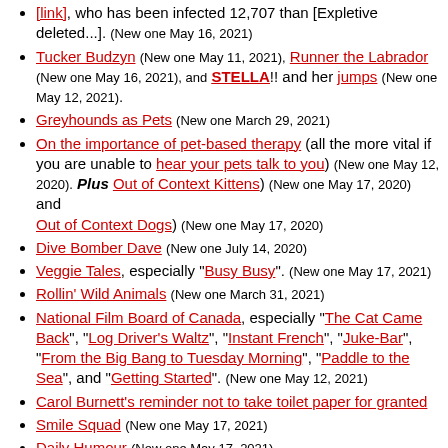[link], who has been infected 12,707 than [Expletive deleted...]. (New one May 16, 2021)
Tucker Budzyn (New one May 11, 2021), Runner the Labrador (New one May 16, 2021), and STELLA!! and her jumps (New one May 12, 2021).
Greyhounds as Pets (New one March 29, 2021)
On the importance of pet-based therapy (all the more vital if you are unable to hear your pets talk to you) (New one May 12, 2020). Plus Out of Context Kittens) (New one May 17, 2020) and Out of Context Dogs) (New one May 17, 2020)
Dive Bomber Dave (New one July 14, 2020)
Veggie Tales, especially "Busy Busy". (New one May 17, 2021)
Rollin' Wild Animals (New one March 31, 2021)
National Film Board of Canada, especially "The Cat Came Back", "Log Driver's Waltz", "Instant French", "Juke-Bar", "From the Big Bang to Tuesday Morning", "Paddle to the Sea", and "Getting Started". (New one May 12, 2021)
Carol Burnett's reminder not to take toilet paper for granted
Smile Squad (New one May 17, 2021)
Daily Humour (New one May 17, 2021)
Parody Project (New one May 7, 2021)
Founders Sing (New one May 9, 2021)
Roy Zimmerman (New one January 19, 2021)
Some Alternate Lyrics
J-L Cauvin, his TTI, and his "Making Podcasts Great Again", including an Easter-related Pay-per-View fund-